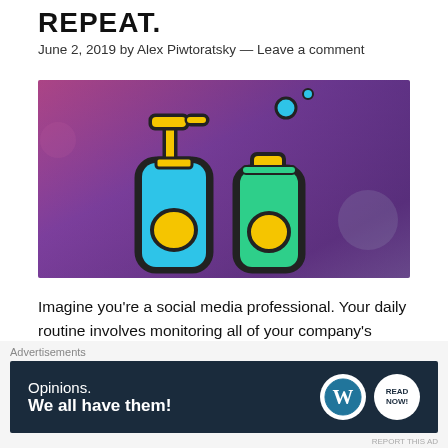REPEAT.
June 2, 2019 by Alex Piwtoratsky — Leave a comment
[Figure (illustration): Illustration of two soap/shampoo bottles (one blue with a pump dispenser, one green) on a purple/pink gradient background with bubbles]
Imagine you’re a social media professional. Your daily routine involves monitoring all of your company’s social pages, creating and scheduling content for the
Advertisements
[Figure (other): WordPress ad banner: 'Opinions. We all have them!' with WordPress logo and another logo on dark navy background]